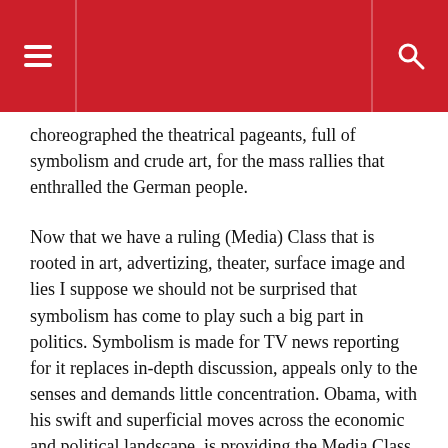☰ 🔍
choreographed the theatrical pageants, full of symbolism and crude art, for the mass rallies that enthralled the German people.
Now that we have a ruling (Media) Class that is rooted in art, advertizing, theater, surface image and lies I suppose we should not be surprised that symbolism has come to play such a big part in politics. Symbolism is made for TV news reporting for it replaces in-depth discussion, appeals only to the senses and demands little concentration. Obama, with his swift and superficial moves across the economic and political landscape, is providing the Media Class with everything it needs. The take-over of the automobile industry (Ford excepted!) by a team that knows absolutely nothing about making